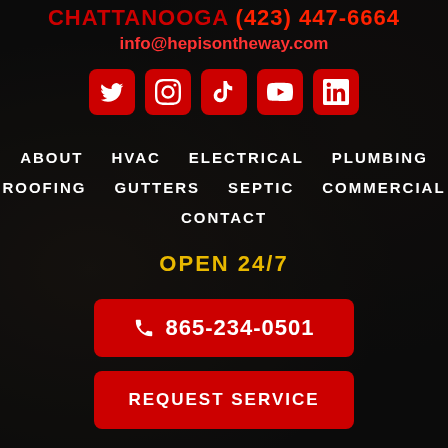CHATTANOOGA (423) 447-6664 info@hepisontheway.com
[Figure (infographic): Row of 5 social media icon buttons (Twitter, Instagram, TikTok, YouTube, LinkedIn) in red rounded squares]
ABOUT  HVAC  ELECTRICAL  PLUMBING  ROOFING  GUTTERS  SEPTIC  COMMERCIAL  CONTACT
OPEN 24/7
📞 865-234-0501
REQUEST SERVICE